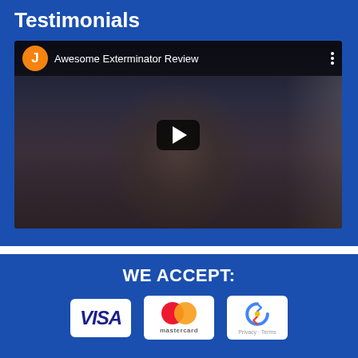Testimonials
[Figure (screenshot): YouTube-style video thumbnail showing a man in a room with bookshelves, with title 'Awesome Exterminator Review', orange avatar circle with letter J, and a play button overlay]
WE ACCEPT:
[Figure (logo): VISA payment logo on white rounded rectangle badge]
[Figure (logo): Mastercard payment logo showing two overlapping circles (red and orange) on white rounded rectangle badge with 'mastercard' text]
[Figure (logo): Google reCAPTCHA badge with recaptcha icon and Privacy - Terms links]